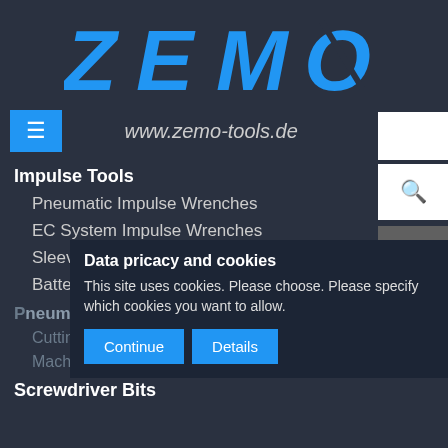[Figure (logo): ZEMO logo in bold italic blue text with www.zemo-tools.de website URL]
www.zemo-tools.de  Deutsch
Impulse Tools
Pneumatic Impulse Wrenches
EC System Impulse Wrenches
Sleeve Drive Power Sockets
Battery Impulse Wrenches
Pneumatic Pliers
Cutting Pliers
Machine Pliers
Screwdriver Bits
Data pricacy and cookies
This site uses cookies. Please choose. Please specify which cookies you want to allow.